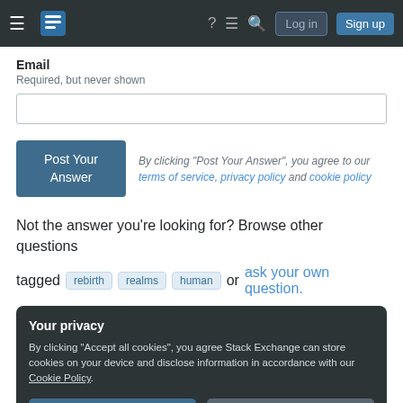Stack Exchange navigation bar with Log in and Sign up buttons
Email
Required, but never shown
Post Your Answer
By clicking "Post Your Answer", you agree to our terms of service, privacy policy and cookie policy
Not the answer you're looking for? Browse other questions tagged rebirth realms human or ask your own question.
Your privacy
By clicking "Accept all cookies", you agree Stack Exchange can store cookies on your device and disclose information in accordance with our Cookie Policy.
Accept all cookies  Customize settings
Recent site instability, major outages – July/August 2022